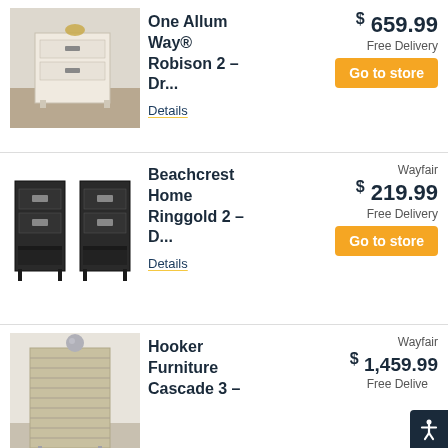[Figure (photo): White/cream dresser nightstand with drawers in a bedroom setting]
One Allum Way® Robison 2 – Dr...
Details
$659.99
Free Delivery
Go to store
[Figure (photo): Two black nightstands with drawers and lower shelf]
Beachcrest Home Ringgold 2 – D...
Details
Wayfair
$219.99
Free Delivery
Go to store
[Figure (photo): Beige/tan slatted nightstand with metallic legs in a bedroom]
Hooker Furniture Cascade 3 –
Wayfair
$1,459.99
Free Delivery